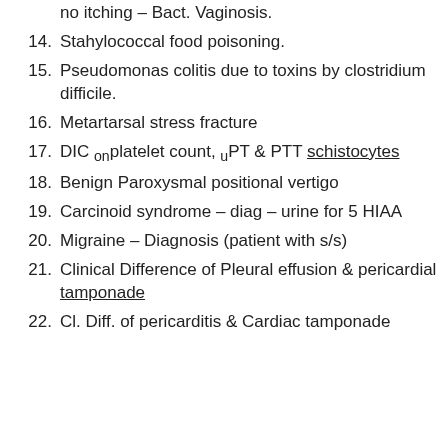no itching – Bact. Vaginosis. (partial, top of page)
14. Stahylococcal food poisoning.
15. Pseudomonas colitis due to toxins by clostridium difficile.
16. Metartarsal stress fracture
17. DIC on platelet count, uPT & PTT schistocytes
18. Benign Paroxysmal positional vertigo
19. Carcinoid syndrome – diag – urine for 5 HIAA
20. Migraine – Diagnosis (patient with s/s)
21. Clinical Difference of Pleural effusion & pericardial tamponade
22. Cl. Diff. of pericarditis & Cardiac tamponade